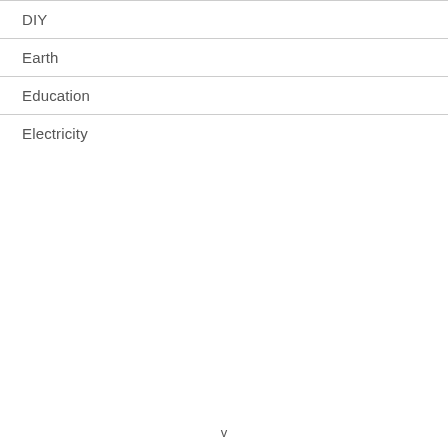DIY
Earth
Education
Electricity
v